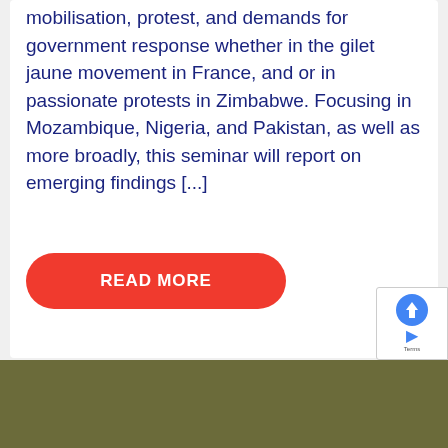mobilisation, protest, and demands for government response whether in the gilet jaune movement in France, and or in passionate protests in Zimbabwe. Focusing in Mozambique, Nigeria, and Pakistan, as well as more broadly, this seminar will report on emerging findings [...]
READ MORE
[Figure (photo): Dark olive/khaki textured background image at the bottom of the page]